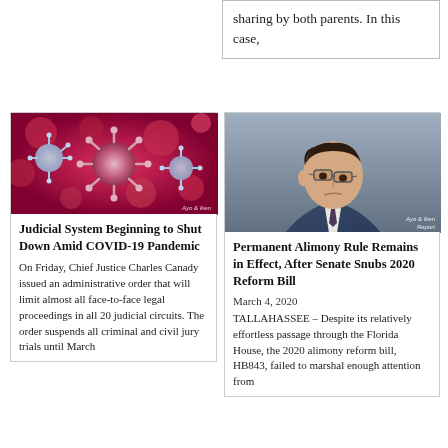sharing by both parents. In this case,
[Figure (photo): Microscopic image of coronavirus particles on red background with Ayo & Iken watermark]
Judicial System Beginning to Shut Down Amid COVID-19 Pandemic
On Friday, Chief Justice Charles Canady issued an administrative order that will limit almost all face-to-face legal proceedings in all 20 judicial circuits. The order suspends all criminal and civil jury trials until March
[Figure (photo): Man in blue suit looking down, with Ayo & Iken Report watermark]
Permanent Alimony Rule Remains in Effect, After Senate Snubs 2020 Reform Bill
March 4, 2020
TALLAHASSEE – Despite its relatively effortless passage through the Florida House, the 2020 alimony reform bill, HB843, failed to marshal enough attention from